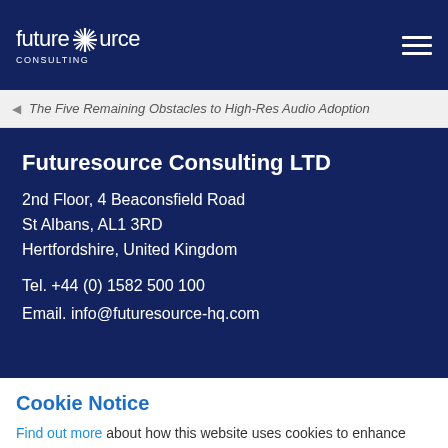futuresource CONSULTING [logo with hamburger menu]
◄ The Five Remaining Obstacles to High-Res Audio Adoption
Futuresource Consulting LTD
2nd Floor, 4 Beaconsfield Road
St Albans, AL1 3RD
Hertfordshire, United Kingdom

Tel. +44 (0) 1582 500 100

Email. info@futuresource-hq.com
Cookie Notice
Find out more about how this website uses cookies to enhance your browsing experience.
Accept Cookies